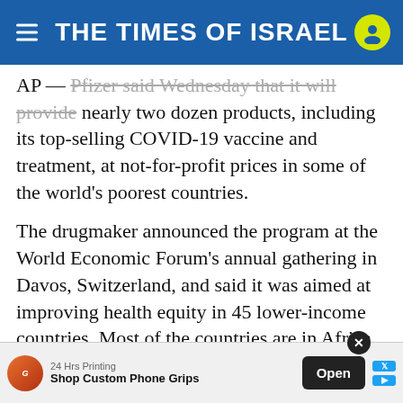THE TIMES OF ISRAEL
AP — Pfizer said Wednesday that it will provide nearly two dozen products, including its top-selling COVID-19 vaccine and treatment, at not-for-profit prices in some of the world's poorest countries.
The drugmaker announced the program at the World Economic Forum's annual gathering in Davos, Switzerland, and said it was aimed at improving health equity in 45 lower-income countries. Most of the countries are in Africa, but the list also includes Haiti, Syria, Cambodia and North Korea.
The products, which are widely available in the US and the European Union, include 23 medicines and vaccines for infectious diseases, cancers and rare diseases. They are not new to the company